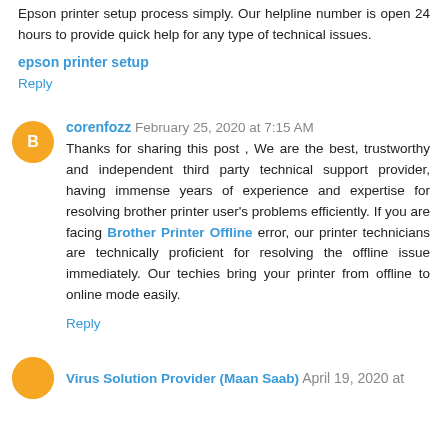Epson printer setup process simply. Our helpline number is open 24 hours to provide quick help for any type of technical issues.
epson printer setup
Reply
corenfozz  February 25, 2020 at 7:15 AM
Thanks for sharing this post , We are the best, trustworthy and independent third party technical support provider, having immense years of experience and expertise for resolving brother printer user's problems efficiently. If you are facing Brother Printer Offline error, our printer technicians are technically proficient for resolving the offline issue immediately. Our techies bring your printer from offline to online mode easily.
Reply
Virus Solution Provider (Maan Saab)  April 19, 2020 at